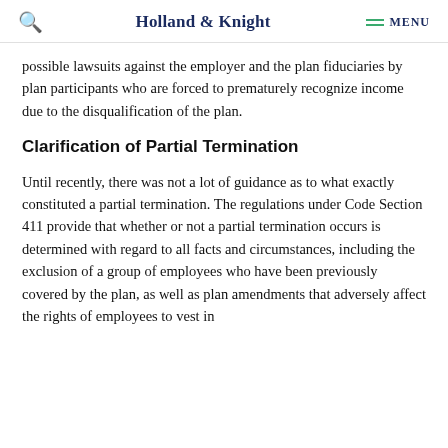Holland & Knight  MENU
possible lawsuits against the employer and the plan fiduciaries by plan participants who are forced to prematurely recognize income due to the disqualification of the plan.
Clarification of Partial Termination
Until recently, there was not a lot of guidance as to what exactly constituted a partial termination. The regulations under Code Section 411 provide that whether or not a partial termination occurs is determined with regard to all facts and circumstances, including the exclusion of a group of employees who have been previously covered by the plan, as well as plan amendments that adversely affect the rights of employees to vest in